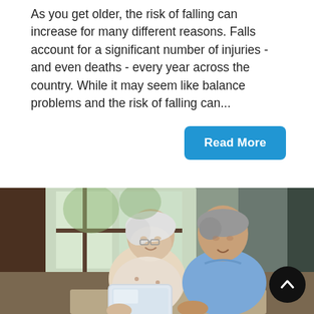As you get older, the risk of falling can increase for many different reasons. Falls account for a significant number of injuries - and even deaths - every year across the country. While it may seem like balance problems and the risk of falling can...
Read More
[Figure (photo): An elderly couple smiling and looking at a tablet together, seated indoors near a window with natural light.]